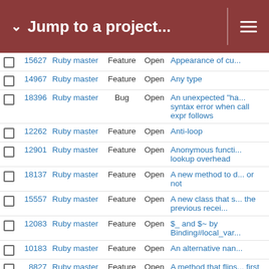Jump to a project...
|  | # | Project | Type | Status | Subject |
| --- | --- | --- | --- | --- | --- |
|  | 15627 | Ruby master | Feature | Open | Appearance of cu... |
|  | 14967 | Ruby master | Feature | Open | Any type |
|  | 18396 | Ruby master | Bug | Open | An unexpected "ha... syntax error when call expr follows |
|  | 12262 | Ruby master | Feature | Open | Anti-loop |
|  | 12901 | Ruby master | Feature | Open | Anonymous functi... lookup overhead |
|  | 18137 | Ruby master | Feature | Open | A new method to d... or not |
|  | 15557 | Ruby master | Feature | Open | A new class that s... the previous recei... |
|  | 12083 | Ruby master | Feature | Open | $_ and $~ by Binding#local_var... |
|  | 10183 | Ruby master | Feature | Open | An alternative nan... |
|  | 8827 | Ruby master | Feature | Open | A method that flips... first argument |
|  | 17718 | Ruby master | Feature | Open | a method parama... pattern matched a... |
|  | 7250 | Ruby master | Feature | Open | A mechanism to in... instance-level and... |